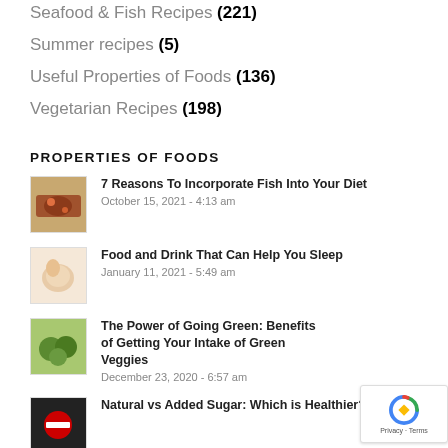Seafood & Fish Recipes (221)
Summer recipes (5)
Useful Properties of Foods (136)
Vegetarian Recipes (198)
PROPERTIES OF FOODS
7 Reasons To Incorporate Fish Into Your Diet
October 15, 2021 - 4:13 am
Food and Drink That Can Help You Sleep
January 11, 2021 - 5:49 am
The Power of Going Green: Benefits of Getting Your Intake of Green Veggies
December 23, 2020 - 6:57 am
Natural vs Added Sugar: Which is Healthier?